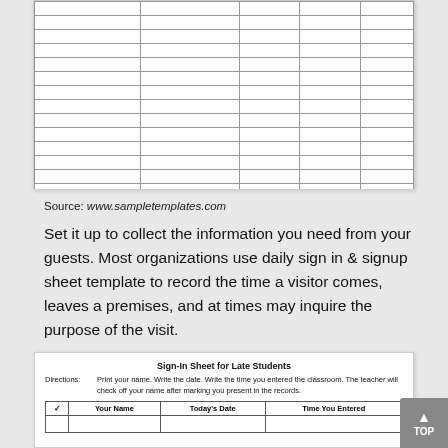|  |  |  |  |  |
|  |  |  |  |  |
|  |  |  |  |  |
|  |  |  |  |  |
|  |  |  |  |  |
|  |  |  |  |  |
|  |  |  |  |  |
|  |  |  |  |  |
|  |  |  |  |  |
|  |  |  |  |  |
|  |  |  |  |  |
|  |  |  |  |  |
|  |  |  |  |  |
|  |  |  |  |  |
Source: www.sampletemplates.com
Set it up to collect the information you need from your guests. Most organizations use daily sign in & signup sheet template to record the time a visitor comes, leaves a premises, and at times may inquire the purpose of the visit.
[Figure (other): Sign-In Sheet for Late Students form with directions, checkbox column, Your Name, Today's Date, and Time You Entered columns]